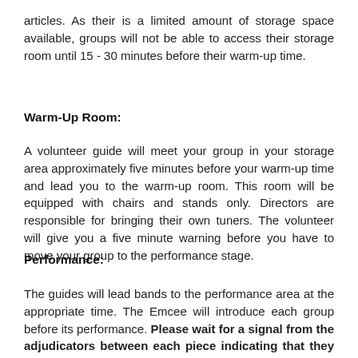articles. As their is a limited amount of storage space available, groups will not be able to access their storage room until 15 - 30 minutes before their warm-up time.
Warm-Up Room:
A volunteer guide will meet your group in your storage area approximately five minutes before your warm-up time and lead you to the warm-up room. This room will be equipped with chairs and stands only. Directors are responsible for bringing their own tuners. The volunteer will give you a five minute warning before you have to move your group to the performance stage.
Performance:
The guides will lead bands to the performance area at the appropriate time. The Emcee will introduce each group before its performance. Please wait for a signal from the adjudicators between each piece indicating that they are ready for you to continue.
Total stage time for Grade 2 to 4 Concert Bands is limited to a